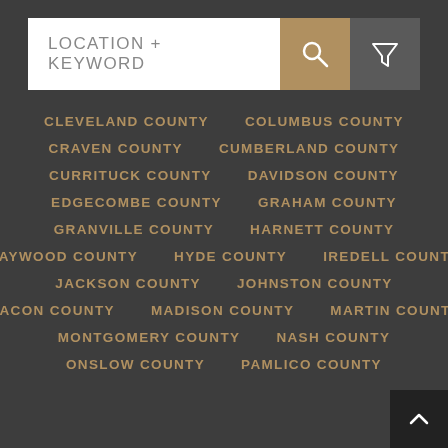[Figure (screenshot): Search bar with LOCATION + KEYWORD placeholder text, magnifying glass icon in tan/gold box, and filter funnel icon in gray box]
CLEVELAND COUNTY
COLUMBUS COUNTY
CRAVEN COUNTY
CUMBERLAND COUNTY
CURRITUCK COUNTY
DAVIDSON COUNTY
EDGECOMBE COUNTY
GRAHAM COUNTY
GRANVILLE COUNTY
HARNETT COUNTY
HAYWOOD COUNTY
HYDE COUNTY
IREDELL COUNTY
JACKSON COUNTY
JOHNSTON COUNTY
MACON COUNTY
MADISON COUNTY
MARTIN COUNTY
MONTGOMERY COUNTY
NASH COUNTY
ONSLOW COUNTY
PAMLICO COUNTY